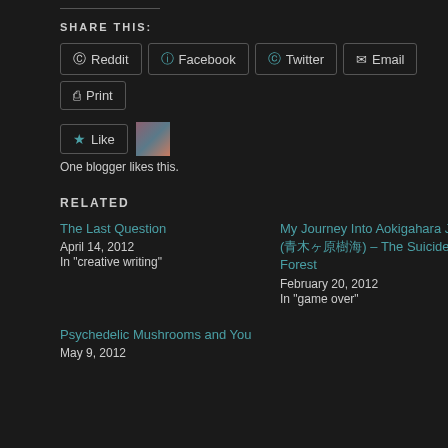SHARE THIS:
Reddit | Facebook | Twitter | Email | Print
Like - One blogger likes this.
RELATED
The Last Question
April 14, 2012
In "creative writing"
My Journey Into Aokigahara Jukai (青木ヶ原樹海) – The Suicide Forest
February 20, 2012
In "game over"
Psychedelic Mushrooms and You
May 9, 2012